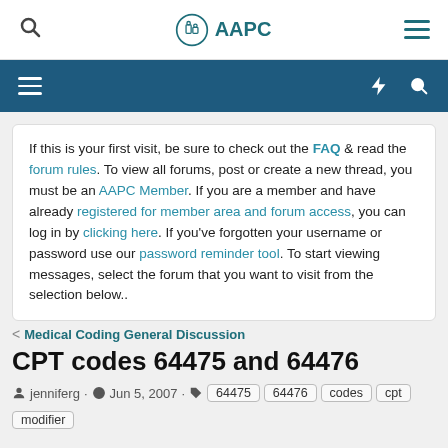AAPC
If this is your first visit, be sure to check out the FAQ & read the forum rules. To view all forums, post or create a new thread, you must be an AAPC Member. If you are a member and have already registered for member area and forum access, you can log in by clicking here. If you've forgotten your username or password use our password reminder tool. To start viewing messages, select the forum that you want to visit from the selection below..
Medical Coding General Discussion
CPT codes 64475 and 64476
jenniferg · Jun 5, 2007 · 64475 64476 codes cpt modifier